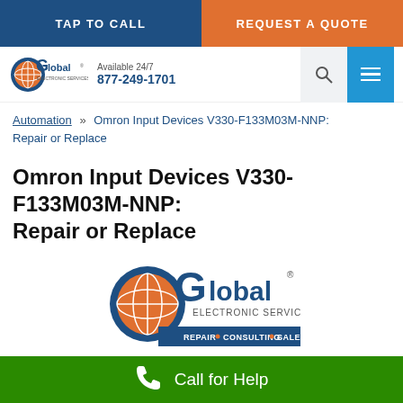TAP TO CALL | REQUEST A QUOTE
[Figure (logo): Global Electronic Services Inc. logo with globe icon and phone number 877-249-1701]
Automation » Omron Input Devices V330-F133M03M-NNP: Repair or Replace
Omron Input Devices V330-F133M03M-NNP: Repair or Replace
[Figure (logo): Global Electronic Services Inc. large logo with REPAIR • CONSULTING • SALES tagline]
Call for Help